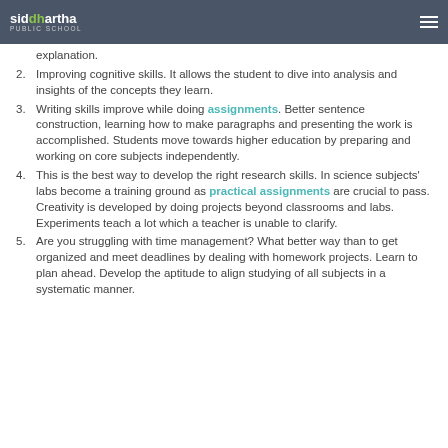Siddhartha Public School
explanation.
Improving cognitive skills. It allows the student to dive into analysis and insights of the concepts they learn.
Writing skills improve while doing assignments. Better sentence construction, learning how to make paragraphs and presenting the work is accomplished. Students move towards higher education by preparing and working on core subjects independently.
This is the best way to develop the right research skills. In science subjects' labs become a training ground as practical assignments are crucial to pass. Creativity is developed by doing projects beyond classrooms and labs. Experiments teach a lot which a teacher is unable to clarify.
Are you struggling with time management? What better way than to get organized and meet deadlines by dealing with homework projects. Learn to plan ahead. Develop the aptitude to align studying of all subjects in a systematic manner.